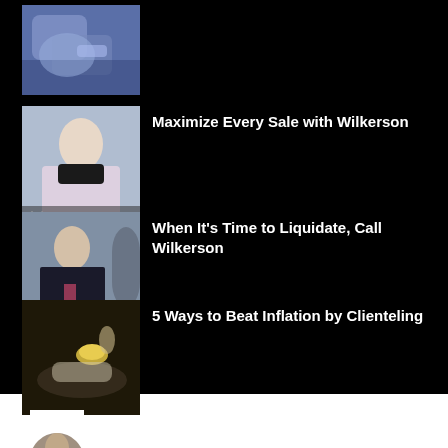[Figure (photo): Thumbnail image of gloved hands, partially visible at top]
[Figure (photo): Thumbnail of woman (Valeria) looking down, video screenshot]
Maximize Every Sale with Wilkerson
[Figure (photo): Thumbnail of man in suit speaking, business video screenshot]
When It's Time to Liquidate, Call Wilkerson
[Figure (photo): Thumbnail of hands holding a gem/coin over dark background]
5 Ways to Beat Inflation by Clienteling
[Figure (photo): Partial avatar/circle image at bottom of page in white section]